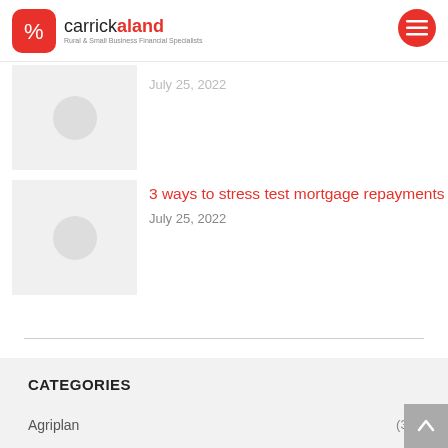carrickaland – Rural & Small Business Financial Specialists
July 25, 2022
3 ways to stress test mortgage repayments
July 25, 2022
CATEGORIES
Agriplan (35)
Blog (439)
Business Books (49)